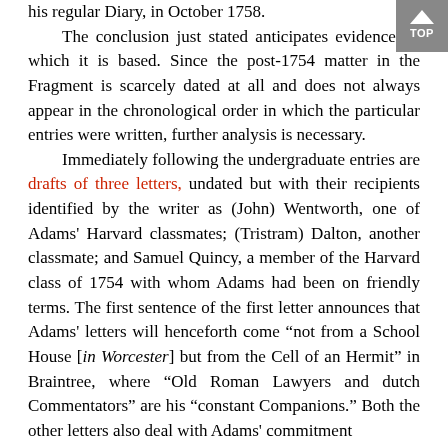his regular Diary, in October 1758.

The conclusion just stated anticipates evidence on which it is based. Since the post-1754 matter in the Fragment is scarcely dated at all and does not always appear in the chronological order in which the particular entries were written, further analysis is necessary.

Immediately following the undergraduate entries are drafts of three letters, undated but with their recipients identified by the writer as (John) Wentworth, one of Adams' Harvard classmates; (Tristram) Dalton, another classmate; and Samuel Quincy, a member of the Harvard class of 1754 with whom Adams had been on friendly terms. The first sentence of the first letter announces that Adams' letters will henceforth come “not from a School House [in Worcester] but from the Cell of an Hermit” in Braintree, where “Old Roman Lawyers and dutch Commentators” are his “constant Companions.” Both the other letters also deal with Adams' commitment